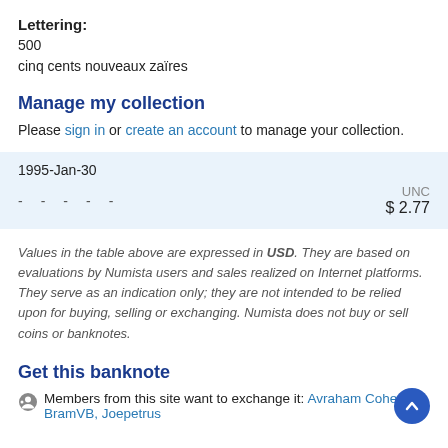Lettering:
500
cinq cents nouveaux zaïres
Manage my collection
Please sign in or create an account to manage your collection.
|  |  |  |  |  | UNC |
| --- | --- | --- | --- | --- | --- |
| 1995-Jan-30 |  |  |  |  |  |
| - | - | - | - | - | $ 2.77 |
Values in the table above are expressed in USD. They are based on evaluations by Numista users and sales realized on Internet platforms. They serve as an indication only; they are not intended to be relied upon for buying, selling or exchanging. Numista does not buy or sell coins or banknotes.
Get this banknote
Members from this site want to exchange it: Avraham Cohen, BramVB, Joepetrus